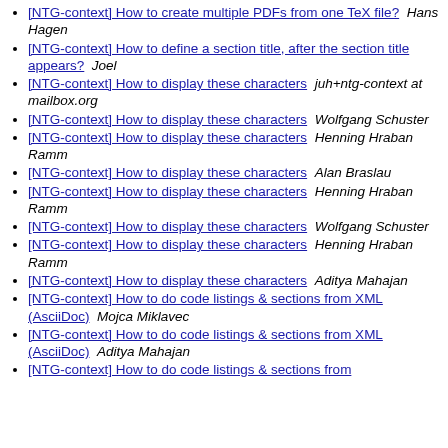[NTG-context] How to create multiple PDFs from one TeX file?  Hans Hagen
[NTG-context] How to define a section title, after the section title appears?  Joel
[NTG-context] How to display these characters  juh+ntg-context at mailbox.org
[NTG-context] How to display these characters  Wolfgang Schuster
[NTG-context] How to display these characters  Henning Hraban Ramm
[NTG-context] How to display these characters  Alan Braslau
[NTG-context] How to display these characters  Henning Hraban Ramm
[NTG-context] How to display these characters  Wolfgang Schuster
[NTG-context] How to display these characters  Henning Hraban Ramm
[NTG-context] How to display these characters  Aditya Mahajan
[NTG-context] How to do code listings & sections from XML (AsciiDoc)  Mojca Miklavec
[NTG-context] How to do code listings & sections from XML (AsciiDoc)  Aditya Mahajan
[NTG-context] How to do code listings & sections from XML (AsciiDoc)